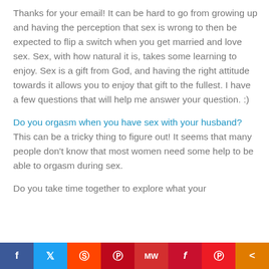Thanks for your email! It can be hard to go from growing up and having the perception that sex is wrong to then be expected to flip a switch when you get married and love sex. Sex, with how natural it is, takes some learning to enjoy. Sex is a gift from God, and having the right attitude towards it allows you to enjoy that gift to the fullest. I have a few questions that will help me answer your question. :)
Do you orgasm when you have sex with your husband? This can be a tricky thing to figure out! It seems that many people don't know that most women need some help to be able to orgasm during sex.
Do you take time together to explore what your